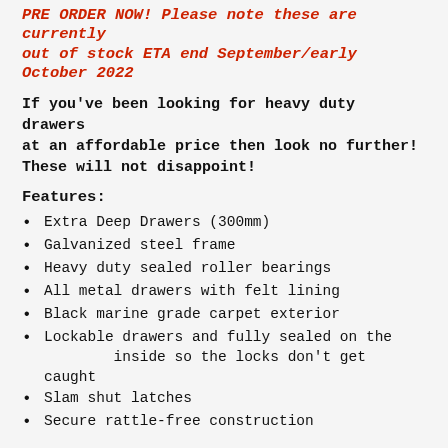PRE ORDER NOW! Please note these are currently out of stock ETA end September/early October 2022
If you've been looking for heavy duty drawers at an affordable price then look no further! These will not disappoint!
Features:
Extra Deep Drawers (300mm)
Galvanized steel frame
Heavy duty sealed roller bearings
All metal drawers with felt lining
Black marine grade carpet exterior
Lockable drawers and fully sealed on the inside so the locks don't get caught
Slam shut latches
Secure rattle-free construction